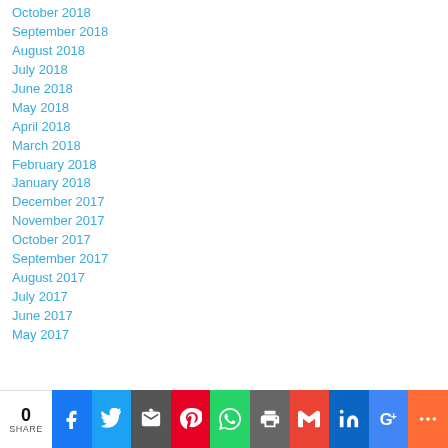October 2018
September 2018
August 2018
July 2018
June 2018
May 2018
April 2018
March 2018
February 2018
January 2018
December 2017
November 2017
October 2017
September 2017
August 2017
July 2017
June 2017
May 2017
0 SHARE [social share buttons: Facebook, Twitter, Email, Pinterest, WhatsApp, Print, Gmail, LinkedIn, Google+, More]